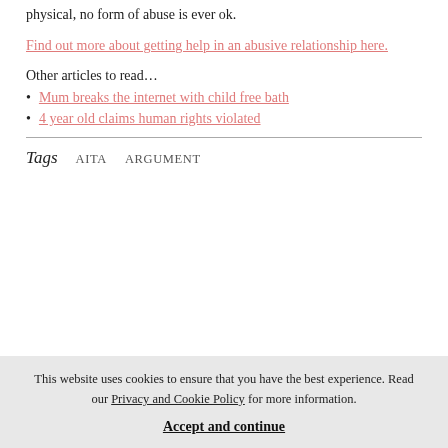physical, no form of abuse is ever ok.
Find out more about getting help in an abusive relationship here.
Other articles to read…
Mum breaks the internet with child free bath
4 year old claims human rights violated
Tags   AITA   ARGUMENT
This website uses cookies to ensure that you have the best experience. Read our Privacy and Cookie Policy for more information.
Accept and continue